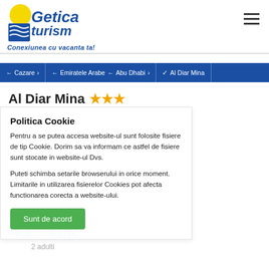[Figure (logo): Getica Turism logo with tagline 'Conexiunea cu vacanta ta!']
← Cazare > ← Emiratele Arabe ← Abu Dhabi > ✓ Al Diar Mina
Al Diar Mina ★★★
Politica Cookie
Pentru a se putea accesa website-ul sunt folosite fisiere de tip Cookie. Dorim sa va informam ce astfel de fisiere sunt stocate in website-ul Dvs.
Puteti schimba setarile browserului in orice moment. Limitarile in utilizarea fisierelor Cookies pot afecta functionarea corecta a website-ului.
Sunt de acord